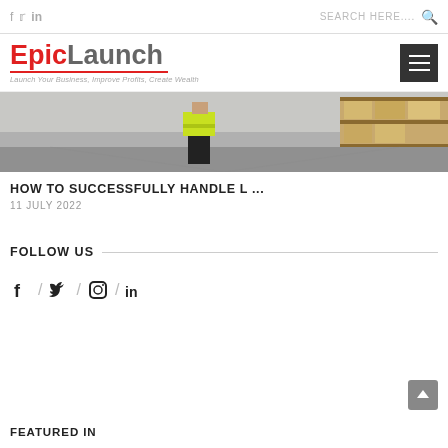f / in   SEARCH HERE....
[Figure (logo): EpicLaunch logo with red 'Epic' and gray 'Launch' text, tagline 'Launch Your Business, Improve Profits, Create Wealth']
[Figure (photo): Warehouse worker in yellow high-visibility vest standing in a warehouse with boxes on shelves]
HOW TO SUCCESSFULLY HANDLE L ...
11 JULY 2022
FOLLOW US
[Figure (infographic): Social media icons: Facebook, Twitter, Instagram, LinkedIn separated by slashes]
FEATURED IN